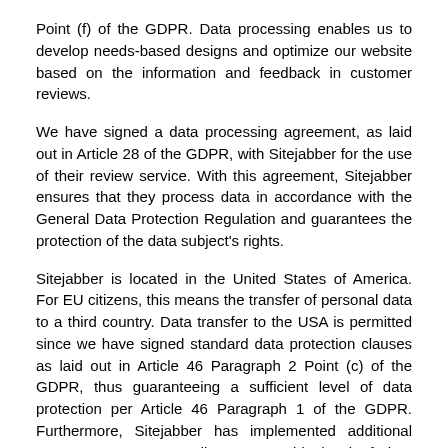Point (f) of the GDPR. Data processing enables us to develop needs-based designs and optimize our website based on the information and feedback in customer reviews.
We have signed a data processing agreement, as laid out in Article 28 of the GDPR, with Sitejabber for the use of their review service. With this agreement, Sitejabber ensures that they process data in accordance with the General Data Protection Regulation and guarantees the protection of the data subject's rights.
Sitejabber is located in the United States of America. For EU citizens, this means the transfer of personal data to a third country. Data transfer to the USA is permitted since we have signed standard data protection clauses as laid out in Article 46 Paragraph 2 Point (c) of the GDPR, thus guaranteeing a sufficient level of data protection per Article 46 Paragraph 1 of the GDPR. Furthermore, Sitejabber has implemented additional measures to ensure adherence to this level of data protection.
p) When using Watch Collection